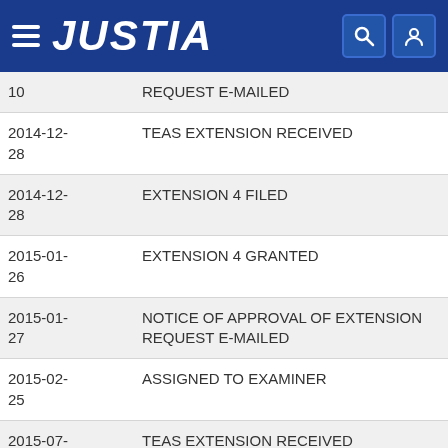JUSTIA
| Date | Event |
| --- | --- |
| 10 | REQUEST E-MAILED |
| 2014-12-28 | TEAS EXTENSION RECEIVED |
| 2014-12-28 | EXTENSION 4 FILED |
| 2015-01-26 | EXTENSION 4 GRANTED |
| 2015-01-27 | NOTICE OF APPROVAL OF EXTENSION REQUEST E-MAILED |
| 2015-02-25 | ASSIGNED TO EXAMINER |
| 2015-07-01 | TEAS EXTENSION RECEIVED |
| 2015-07- | EXTENSION 5 FILED |